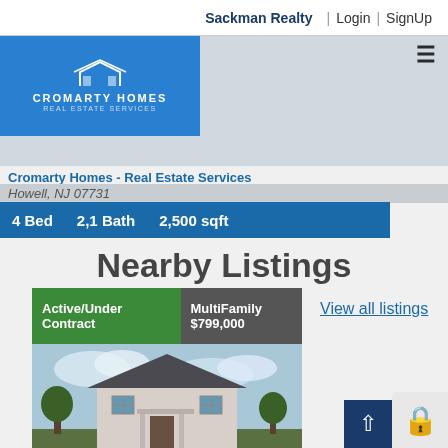Sackman Realty | Login | SignUp
[Figure (logo): Cromarty Homes Real Estate Services logo — white house icon and text on blue background]
Cromarty Homes - Real Estate Services
Howell, NJ 07731
4 Bed   2,1 Bath   2,500 sqft
Nearby Listings
View all listings
Active/Under Contract
MultiFamily $799,000
[Figure (photo): Photo of a two-story white multi-family house with dark roof under a partly cloudy sky]
218-219 Maple Avenue
Red Bank, NJ 07701
3 Bed   1 Full Bath, 0 Half Bath
3,006 sqft